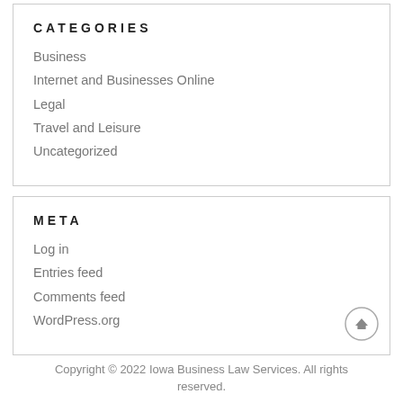CATEGORIES
Business
Internet and Businesses Online
Legal
Travel and Leisure
Uncategorized
META
Log in
Entries feed
Comments feed
WordPress.org
Copyright © 2022 Iowa Business Law Services. All rights reserved.